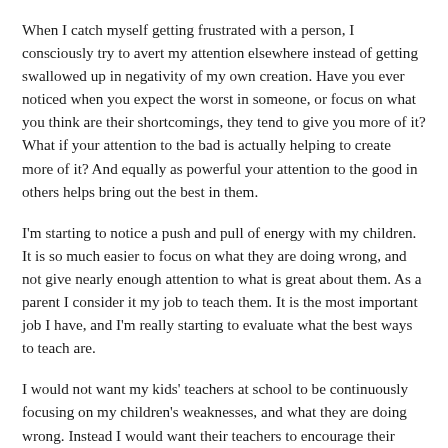When I catch myself getting frustrated with a person, I consciously try to avert my attention elsewhere instead of getting swallowed up in negativity of my own creation. Have you ever noticed when you expect the worst in someone, or focus on what you think are their shortcomings, they tend to give you more of it? What if your attention to the bad is actually helping to create more of it? And equally as powerful your attention to the good in others helps bring out the best in them.
I'm starting to notice a push and pull of energy with my children. It is so much easier to focus on what they are doing wrong, and not give nearly enough attention to what is great about them. As a parent I consider it my job to teach them. It is the most important job I have, and I'm really starting to evaluate what the best ways to teach are.
I would not want my kids' teachers at school to be continuously focusing on my children's weaknesses, and what they are doing wrong. Instead I would want their teachers to encourage their strengths, give them praise when they do something good and add positivity to their life. If that is what I